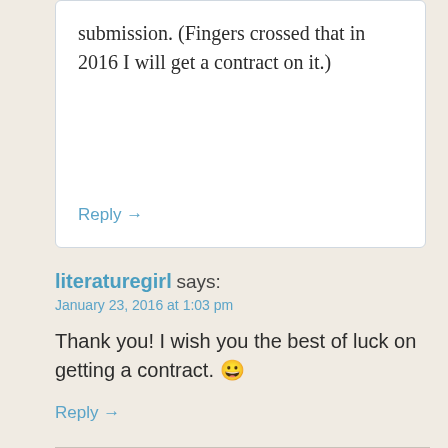submission. (Fingers crossed that in 2016 I will get a contract on it.)
Reply →
literaturegirl says:
January 23, 2016 at 1:03 pm
Thank you! I wish you the best of luck on getting a contract. 😀
Reply →